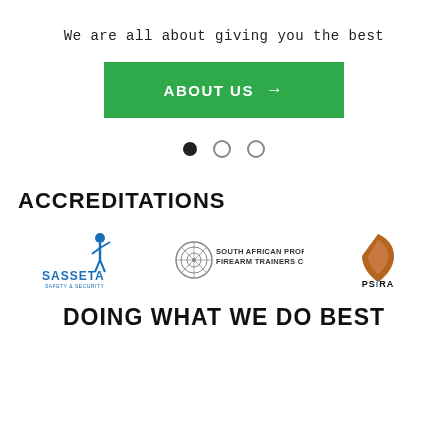We are all about giving you the best
ABOUT US →
[Figure (other): Carousel navigation dots: one filled black dot and two empty circle dots]
ACCREDITATIONS
[Figure (logo): SASSETA Safety & Security Sector Education and Training Authority logo with a blue figure icon and blue text]
[Figure (logo): South African Professional Firearm Trainers Council logo with circular emblem and text]
[Figure (logo): PSIRA logo with a brown/amber shield/leaf icon and PSIRA text]
DOING WHAT WE DO BEST